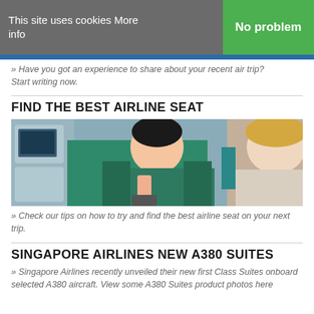This site uses cookies More info
No problem
» Have you got an experience to share about your recent air trip? Start writing now.
FIND THE BEST AIRLINE SEAT
[Figure (photo): Flight attendant in green uniform smiling and assisting a passenger in an airplane cabin with seat-back screens visible]
» Check our tips on how to try and find the best airline seat on your next trip.
SINGAPORE AIRLINES NEW A380 SUITES
» Singapore Airlines recently unveiled their new first Class Suites onboard selected A380 aircraft. View some A380 Suites product photos here